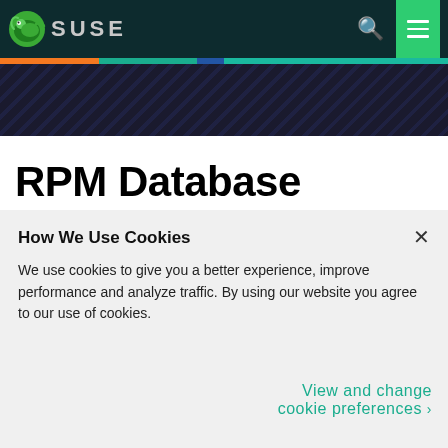SUSE
[Figure (screenshot): SUSE website header with dark teal navigation bar showing SUSE chameleon logo on left, orange search icon and green hamburger menu button on right. Below is a color stripe (orange, teal, blue, light teal) followed by a dark banner with diagonal pattern.]
RPM Database
How We Use Cookies
We use cookies to give you a better experience, improve performance and analyze traffic. By using our website you agree to our use of cookies.
View and change cookie preferences >